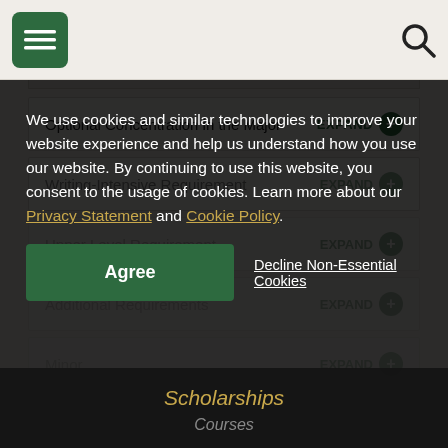Navigation bar with hamburger menu and search icon
Optional Concentration in the Major  EXPAND +
Writing-Intensive Requirement  EXPAND +
Upper Level Requirement  EXPAND +
Additional Requirements  EXPAND +
Minor  EXPAND +
We use cookies and similar technologies to improve your website experience and help us understand how you use our website. By continuing to use this website, you consent to the usage of cookies. Learn more about our Privacy Statement and Cookie Policy.
Agree
Decline Non-Essential Cookies
Scholarships
Courses